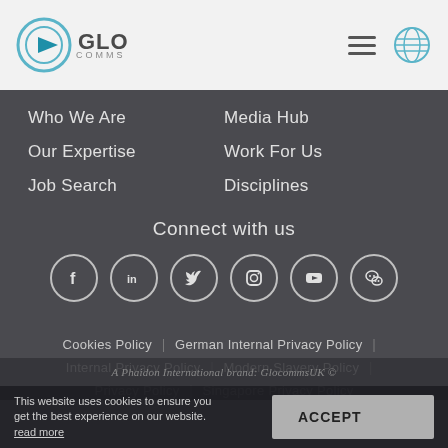GLO COMMS
Who We Are
Our Expertise
Job Search
Media Hub
Work For Us
Disciplines
Connect with us
[Figure (infographic): Row of 6 social media icons in circles: Facebook, LinkedIn, Twitter, Instagram, YouTube, WeChat]
Cookies Policy | German Internal Privacy Policy | Internal Privacy Policy | Modern Slavery Policy | Privacy Policy | Singapore Privacy Policy
A Phaidon International brand: GlocommsUK
This website uses cookies to ensure you get the best experience on our website.  read more
ACCEPT